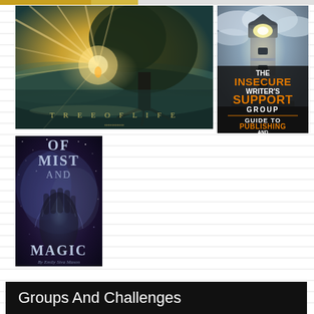[Figure (illustration): Tree of Life book/movie cover art — golden light rays through a large tree, landscape, text 'TREE OF LIFE' at bottom]
[Figure (illustration): The Insecure Writer's Support Group Guide to Publishing and Beyond — lighthouse image with orange and white text on dark background]
[Figure (illustration): Of Mist and Magic book cover — dark fantasy cover with glowing hands and starfield, text 'OF MIST AND MAGIC' by Emily Sica Mason]
Groups And Challenges